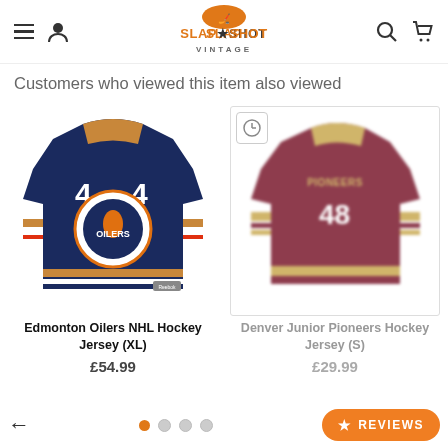[Figure (logo): Slapshot Vintage logo with hockey sticks and text]
Customers who viewed this item also viewed
[Figure (photo): Edmonton Oilers NHL Hockey Jersey #44, navy blue with orange accents, Reebok brand]
[Figure (photo): Denver Junior Pioneers Hockey Jersey #48, dark red/maroon with gold accents]
Edmonton Oilers NHL Hockey Jersey (XL)
£54.99
Denver Junior Pioneers Hockey Jersey (S)
£29.99